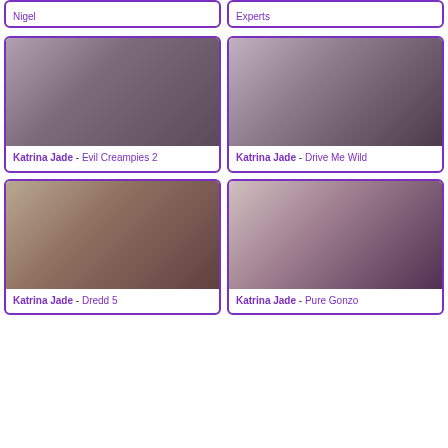Nigel
Experts
[Figure (photo): Photo of Katrina Jade in fishnet outfit and boots]
Katrina Jade - Evil Creampies 2
[Figure (photo): Photo of Katrina Jade with another person]
Katrina Jade - Drive Me Wild
[Figure (photo): Photo of Katrina Jade in fishnet stockings]
Katrina Jade - Dredd 5
[Figure (photo): Photo of Katrina Jade in red outfit]
Katrina Jade - Pure Gonzo